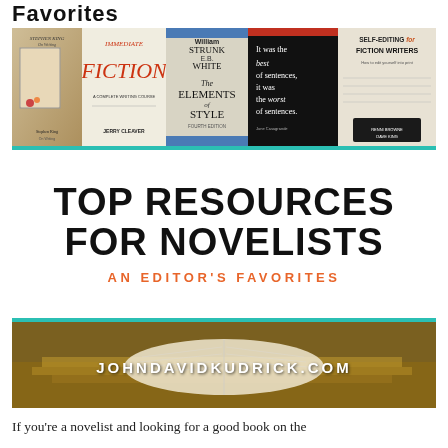Favorites
[Figure (illustration): Composite graphic showing book covers (Stephen King On Writing, Immediate Fiction by Jerry Cleaver, The Elements of Style by Strunk & White, It was the best of sentences it was the worst of sentences by June Casagrande, Self-Editing for Fiction Writers) at top, a large center white panel with bold text 'TOP RESOURCES FOR NOVELISTS' and subtitle 'AN EDITOR'S FAVORITES', and a bottom photo of open books with website URL 'JOHNDAVIDKUDRICK.COM']
If you're a novelist and looking for a good book on the